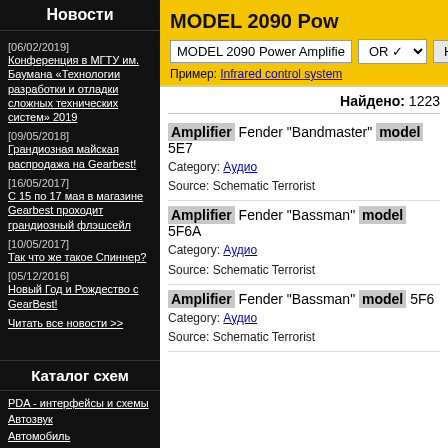Новости
[06/02/2019] Конференция в МГТУ им. Баумана «Технологии разработки и отладки сложных технических систем» 2019
[09/05/2018] Грандиозная майская распродажа на Gearbest!
[16/05/2017] С 15 по 17 мая в магазине Gearbest проходит грандиозный флэшсейл
[10/05/2017] Так что же такое Спиннер?
[05/12/2016] Новый Год и Рождество с GearBest!
Читать все новости >>
Каталог схем
PDA - интерфейсы и схемы
Автозвук
Автомобиль
MODEL 2090 Power Amplifier
MODEL 2090 Power Amplifier
Пример: Infrared control system
Найдено: 1223
Amplifier Fender "Bandmaster" model 5E7
Category: Аудио
Source: Schematic Terrorist
Amplifier Fender "Bassman" model 5F6A
Category: Аудио
Source: Schematic Terrorist
Amplifier Fender "Bassman" model 5F6
Category: Аудио
Source: Schematic Terrorist